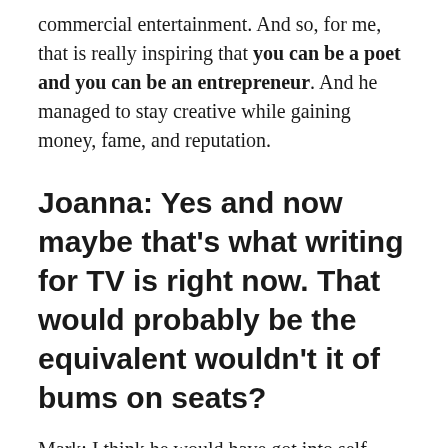commercial entertainment. And so, for me, that is really inspiring that you can be a poet and you can be an entrepreneur. And he managed to stay creative while gaining money, fame, and reputation.
Joanna: Yes and now maybe that's what writing for TV is right now. That would probably be the equivalent wouldn't it of bums on seats?
Mark: I think he would have got into self-publishing, too. I think he would have seen an opportunity there and thought…he would have